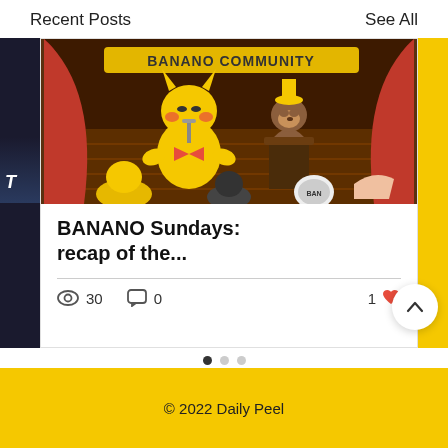Recent Posts    See All
[Figure (illustration): Cartoon illustration of a Banano Community event/show on a stage with red curtains. Characters include a Pikachu-like figure holding a microphone and a monkey-like character at a podium. Text 'BANANO COMMUNITY' visible at top. Audience characters visible in foreground.]
BANANO Sundays: recap of the...
30 views  0 comments  1 like
© 2022 Daily Peel